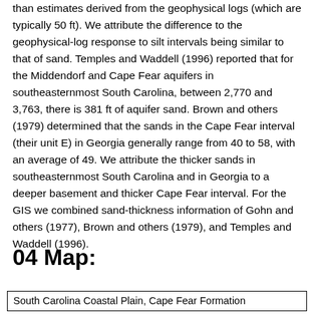initially. Sand thickness estimates are considerably lower than estimates derived from the geophysical logs (which are typically 50 ft). We attribute the difference to the geophysical-log response to silt intervals being similar to that of sand. Temples and Waddell (1996) reported that for the Middendorf and Cape Fear aquifers in southeasternmost South Carolina, between 2,770 and 3,763, there is 381 ft of aquifer sand. Brown and others (1979) determined that the sands in the Cape Fear interval (their unit E) in Georgia generally range from 40 to 58, with an average of 49. We attribute the thicker sands in southeasternmost South Carolina and in Georgia to a deeper basement and thicker Cape Fear interval. For the GIS we combined sand-thickness information of Gohn and others (1977), Brown and others (1979), and Temples and Waddell (1996).
04 Map:
South Carolina Coastal Plain, Cape Fear Formation